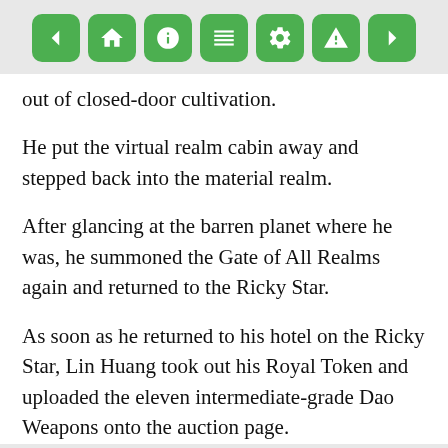[toolbar: back, home, info, list, settings, alert, forward]
out of closed-door cultivation.
He put the virtual realm cabin away and stepped back into the material realm.
After glancing at the barren planet where he was, he summoned the Gate of All Realms again and returned to the Ricky Star.
As soon as he returned to his hotel on the Ricky Star, Lin Huang took out his Royal Token and uploaded the eleven intermediate-grade Dao Weapons onto the auction page.
His conditions for the auction were as follows.